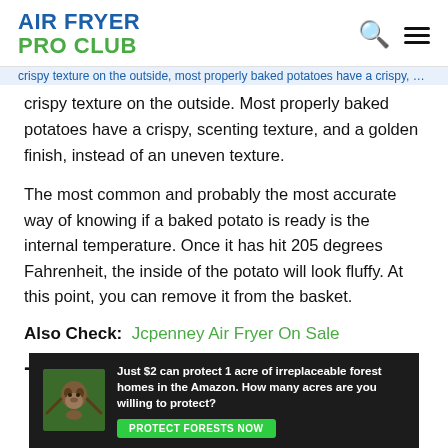AIR FRYER PRO CLUB
crispy texture on the outside. Most properly baked potatoes have a crispy, scenting texture, and a golden finish, instead of an uneven texture.
The most common and probably the most accurate way of knowing if a baked potato is ready is the internal temperature. Once it has hit 205 degrees Fahrenheit, the inside of the potato will look fluffy. At this point, you can remove it from the basket.
Also Check: Jcpenney Air Fryer On Sale
(partial section header, cut off)
[Figure (other): Advertisement banner: Just $2 can protect 1 acre of irreplaceable forest homes in the Amazon. How many acres are you willing to protect? PROTECT FORESTS NOW]